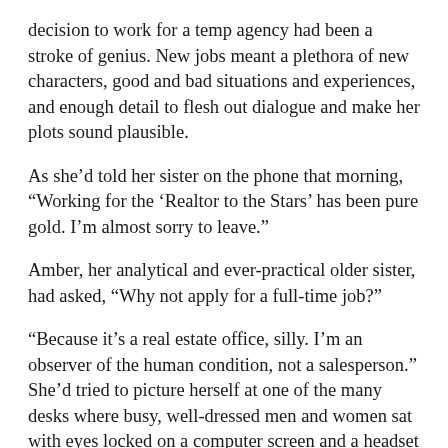decision to work for a temp agency had been a stroke of genius. New jobs meant a plethora of new characters, good and bad situations and experiences, and enough detail to flesh out dialogue and make her plots sound plausible.
As she'd told her sister on the phone that morning, “Working for the ‘Realtor to the Stars’ has been pure gold. I’m almost sorry to leave.”
Amber, her analytical and ever-practical older sister, had asked, “Why not apply for a full-time job?”
“Because it’s a real estate office, silly. I’m an observer of the human condition, not a salesperson.” She’d tried to picture herself at one of the many desks where busy, well-dressed men and women sat with eyes locked on a computer screen and a headset connected to their phones. “Ye gods, girl, are you trying to put this horse before a cart of bologna? Not happening. Although I might enjoy a little one-on-one time with the man behind the persona. Heartthrob handsome. Brilliant marketer. So well connected, he doesn’t have to name drop. You just know he knows people.”